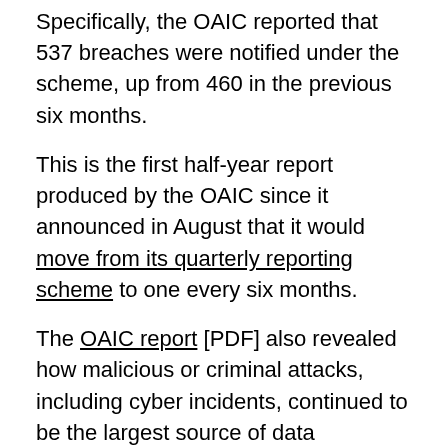Specifically, the OAIC reported that 537 breaches were notified under the scheme, up from 460 in the previous six months.
This is the first half-year report produced by the OAIC since it announced in August that it would move from its quarterly reporting scheme to one every six months.
The OAIC report [PDF] also revealed how malicious or criminal attacks, including cyber incidents, continued to be the largest source of data breaches, accounting for 64% of all notifications, or 343 breaches, which was an additional 61 notifications compared to the previous half year.
SEE: Cybersecurity: Let's get